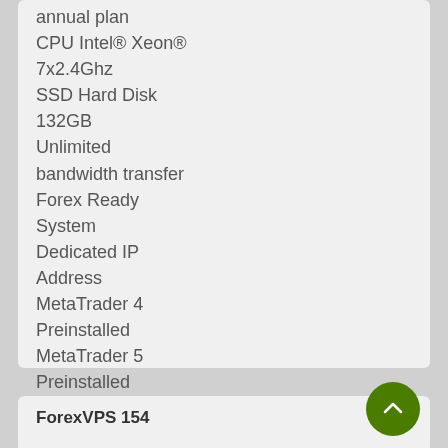annual plan
CPU Intel® Xeon® 7x2.4Ghz
SSD Hard Disk 132GB
Unlimited bandwidth transfer
Forex Ready System
Dedicated IP Address
MetaTrader 4 Preinstalled
MetaTrader 5 Preinstalled
Setup included
Advanced Anti DDoS attacks protection
$132.00 USD Månedlig $756.00 USD Halvårlig $1440.00 USD Årlig
Bestill nå
ForexVPS 154